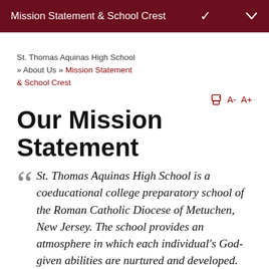Mission Statement & School Crest
St. Thomas Aquinas High School » About Us » Mission Statement & School Crest
Our Mission Statement
St. Thomas Aquinas High School is a coeducational college preparatory school of the Roman Catholic Diocese of Metuchen, New Jersey. The school provides an atmosphere in which each individual's God-given abilities are nurtured and developed. Every student is encouraged to